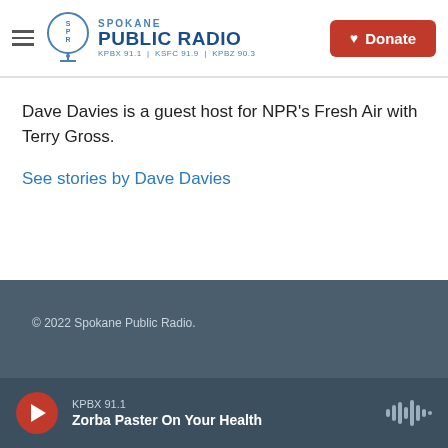Spokane Public Radio — KPBX 91.1 | KSFC 91.9 | KPBZ 90.3 — Donate
Dave Davies is a guest host for NPR's Fresh Air with Terry Gross.
See stories by Dave Davies
© 2022 Spokane Public Radio. | KPBX 91.1 | Zorba Paster On Your Health